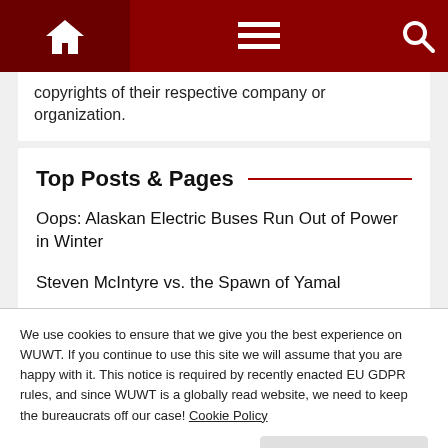Navigation bar with home icon, menu icon, and search icon
copyrights of their respective company or organization.
Top Posts & Pages
Oops: Alaskan Electric Buses Run Out of Power in Winter
Steven McIntyre vs. the Spawn of Yamal
Andrew Dessler vs. Steven Koonin Debate Official Version Posted. Huge Victory for Climate Realism
We use cookies to ensure that we give you the best experience on WUWT. If you continue to use this site we will assume that you are happy with it. This notice is required by recently enacted EU GDPR rules, and since WUWT is a globally read website, we need to keep the bureaucrats off our case! Cookie Policy
California Urges Residents Not to Charge EVs after 4pm